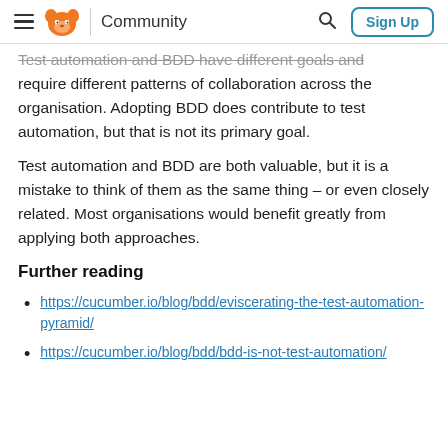Community | Sign Up
Test automation and BDD have different goals and require different patterns of collaboration across the organisation. Adopting BDD does contribute to test automation, but that is not its primary goal.
Test automation and BDD are both valuable, but it is a mistake to think of them as the same thing – or even closely related. Most organisations would benefit greatly from applying both approaches.
Further reading
https://cucumber.io/blog/bdd/eviscerating-the-test-automation-pyramid/
https://cucumber.io/blog/bdd/bdd-is-not-test-automation/